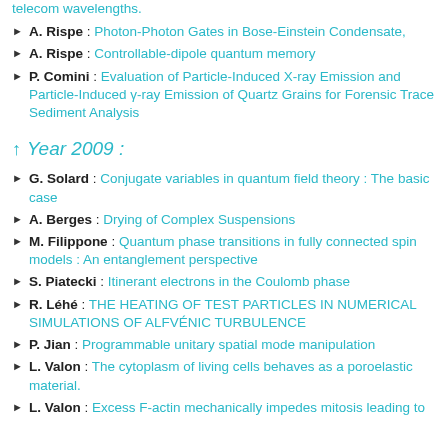telecom wavelengths.
A. Rispe : Photon-Photon Gates in Bose-Einstein Condensate,
A. Rispe : Controllable-dipole quantum memory
P. Comini : Evaluation of Particle-Induced X-ray Emission and Particle-Induced γ-ray Emission of Quartz Grains for Forensic Trace Sediment Analysis
↑ Year 2009 :
G. Solard : Conjugate variables in quantum field theory : The basic case
A. Berges : Drying of Complex Suspensions
M. Filippone : Quantum phase transitions in fully connected spin models : An entanglement perspective
S. Piatecki : Itinerant electrons in the Coulomb phase
R. Léhé : THE HEATING OF TEST PARTICLES IN NUMERICAL SIMULATIONS OF ALFVÉNIC TURBULENCE
P. Jian : Programmable unitary spatial mode manipulation
L. Valon : The cytoplasm of living cells behaves as a poroelastic material.
L. Valon : Excess F-actin mechanically impedes mitosis leading to